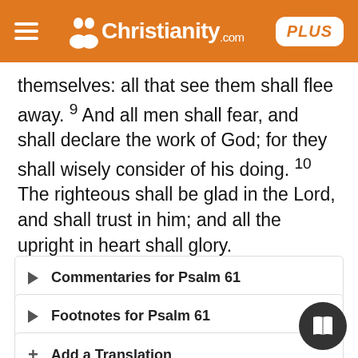Christianity.com PLUS
themselves: all that see them shall flee away. 9 And all men shall fear, and shall declare the work of God; for they shall wisely consider of his doing. 10 The righteous shall be glad in the Lord, and shall trust in him; and all the upright in heart shall glory.
Commentaries for Psalm 61
Footnotes for Psalm 61
Add a Translation